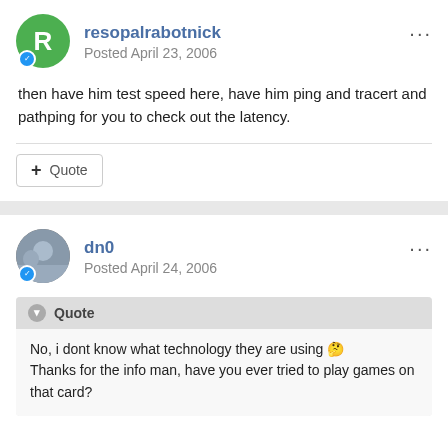resopalrabotnick
Posted April 23, 2006
then have him test speed here, have him ping and tracert and pathping for you to check out the latency.
+ Quote
dn0
Posted April 24, 2006
Quote
No, i dont know what technology they are using 🤔
Thanks for the info man, have you ever tried to play games on that card?